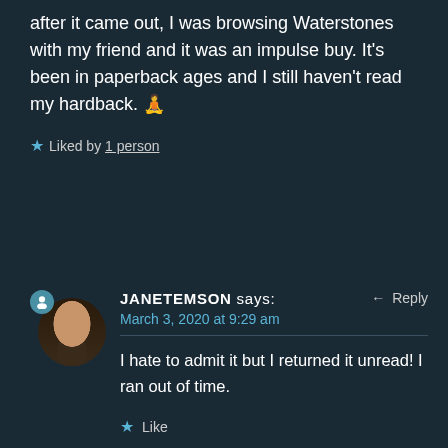after it came out, I was browsing Waterstones with my friend and it was an impulse buy. It’s been in paperback ages and I still haven’t read my hardback. 🧘
★ Liked by 1 person
JANETEMSON says: ← Reply
March 3, 2020 at 9:29 am
I hate to admit it but I returned it unread! I ran out of time.
★ Like